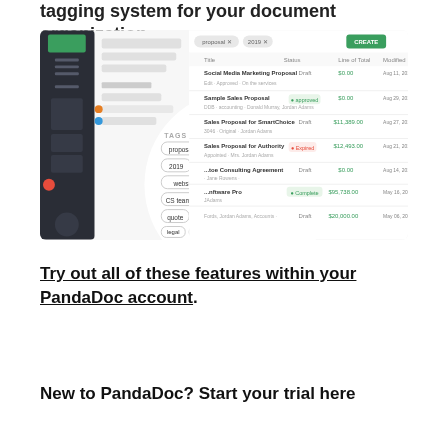tagging system for your document organization
[Figure (screenshot): PandaDoc application interface showing document list with tags panel overlay. The tags panel shows: proposal, accounting, 2019, website services, CS team, invoice, quote, agreement, legal, 2018, ... The main panel shows a list of documents including Social Media Marketing Proposal, Sample Sales Proposal, Sales Proposal for SmartChoice, Sales Proposal for Authority, Consulting Agreement, Software Pro with statuses and prices.]
Try out all of these features within your PandaDoc account.
New to PandaDoc? Start your trial here